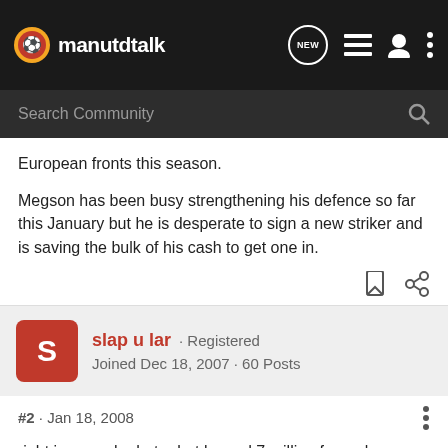manutdtalk
European fronts this season.
Megson has been busy strengthening his defence so far this January but he is desperate to sign a new striker and is saving the bulk of his cash to get one in.
slap u lar · Registered
Joined Dec 18, 2007 · 60 Posts
#2 · Jan 18, 2008
right im no saha hater but by god 7 million for a player that dosent hardly ever play aint bad and he aint gonna get any